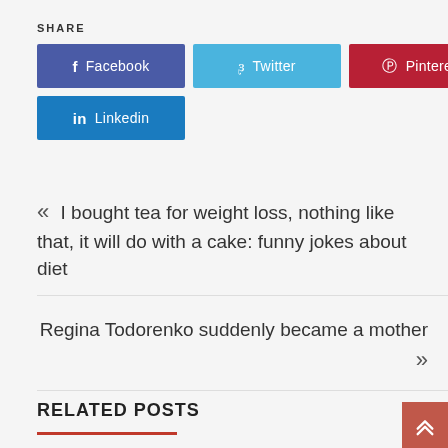SHARE
[Figure (infographic): Social share buttons: Facebook (dark blue), Twitter (light blue), Pinterest (dark red), Linkedin (medium blue)]
« I bought tea for weight loss, nothing like that, it will do with a cake: funny jokes about diet
Regina Todorenko suddenly became a mother »
RELATED POSTS